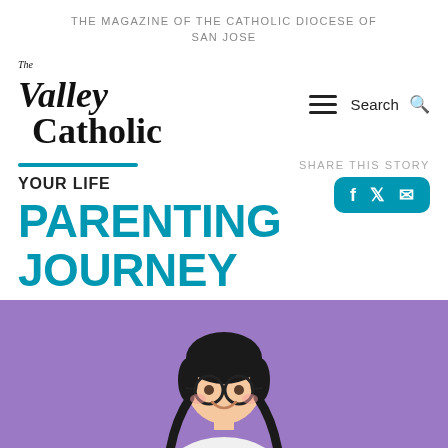THE MAGAZINE OF THE CATHOLIC DIOCESE OF SAN JOSE
[Figure (logo): The Valley Catholic magazine logo with serif italic 'Valley' and bold 'Catholic' text]
Search
SHARE THIS STORY
YOUR LIFE
PARENTING JOURNEY
[Figure (photo): Young Asian girl with glasses and braids smiling on purple background]